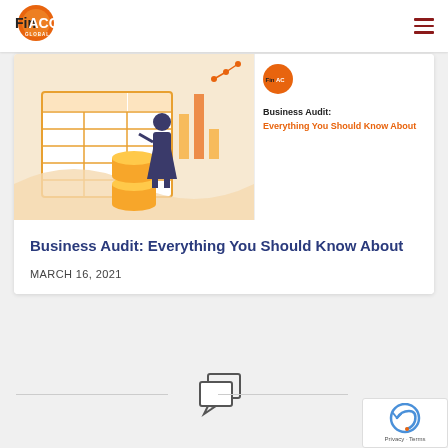FinACC Global
[Figure (illustration): Illustration of a person standing on coins in front of a large calculator and financial charts with orange and beige tones]
[Figure (illustration): Small FinACC Global logo badge followed by bold text: Business Audit: Everything You Should Know About]
Business Audit: Everything You Should Know About
MARCH 16, 2021
[Figure (other): Two overlapping speech bubble / comment icons forming a comments/discussion icon]
[Figure (other): reCAPTCHA privacy badge - Privacy · Terms]